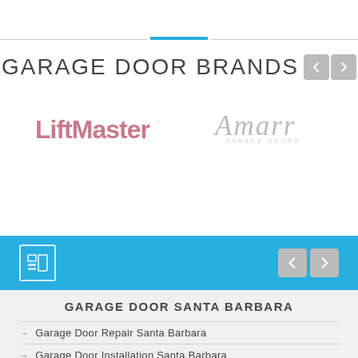GARAGE DOOR BRANDS
[Figure (logo): LiftMaster logo in muted pink/rose color]
[Figure (logo): Amarr Garage Doors logo in light gray]
GARAGE DOOR SANTA BARBARA
Garage Door Repair Santa Barbara
Garage Door Installation Santa Barbara